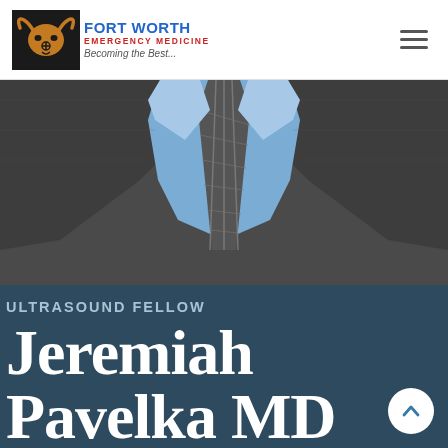Fort Worth Emergency Medicine — Becoming the Best...
[Figure (photo): Close-up photo of a person in a dark charcoal suit with a light blue dress shirt and a dark plaid/checkered tie.]
ULTRASOUND FELLOW
Jeremiah Pavelka MD